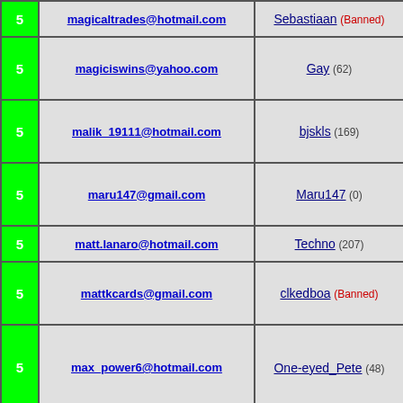|  | Email | Username |
| --- | --- | --- |
| 5 | magicaltrades@hotmail.com | Sebastiaan (Banned) |
| 5 | magiciswins@yahoo.com | Gay (62) |
| 5 | malik_19111@hotmail.com | bjskls (169) |
| 5 | maru147@gmail.com | Maru147 (0) |
| 5 | matt.lanaro@hotmail.com | Techno (207) |
| 5 | mattkcards@gmail.com | clkedboa (Banned) |
| 5 | max_power6@hotmail.com | One-eyed_Pete (48) |
| 5 | mazzotti@fas.harvard.edu | spike777 (146) |